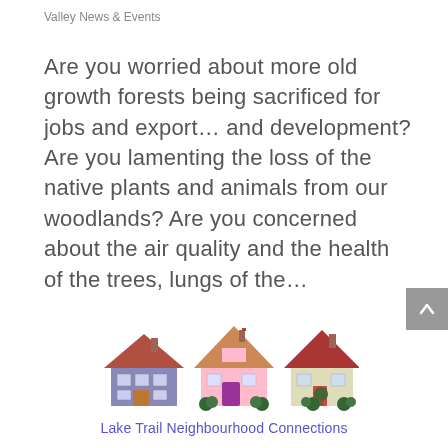Valley News & Events
Are you worried about more old growth forests being sacrificed for jobs and export... and development? Are you lamenting the loss of the native plants and animals from our woodlands? Are you concerned about the air quality and the health of the trees, lungs of the…
[Figure (logo): Three illustrated cartoon houses side by side — a blue/purple house on the left, a pink house in the center, and a beige/green house on the right, each with a red/brown roof. This is the logo for Lake Trail Neighbourhood Connections.]
Lake Trail Neighbourhood Connections